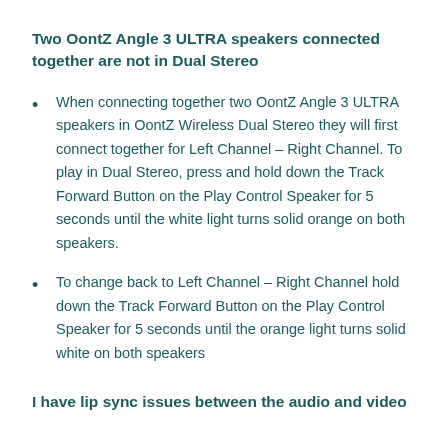Two OontZ Angle 3 ULTRA speakers connected together are not in Dual Stereo
When connecting together two OontZ Angle 3 ULTRA speakers in OontZ Wireless Dual Stereo they will first connect together for Left Channel – Right Channel. To play in Dual Stereo, press and hold down the Track Forward Button on the Play Control Speaker for 5 seconds until the white light turns solid orange on both speakers.
To change back to Left Channel – Right Channel hold down the Track Forward Button on the Play Control Speaker for 5 seconds until the orange light turns solid white on both speakers
I have lip sync issues between the audio and video